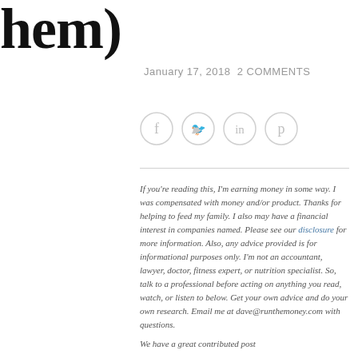hem)
January 17, 2018 2 COMMENTS
[Figure (infographic): Four social media share icons in circles: Facebook (f), Twitter (bird), LinkedIn (in), Pinterest (p)]
If you're reading this, I'm earning money in some way. I was compensated with money and/or product. Thanks for helping to feed my family. I also may have a financial interest in companies named. Please see our disclosure for more information. Also, any advice provided is for informational purposes only. I'm not an accountant, lawyer, doctor, fitness expert, or nutrition specialist. So, talk to a professional before acting on anything you read, watch, or listen to below. Get your own advice and do your own research. Email me at dave@runthemoney.com with questions.
We have a great contributed post